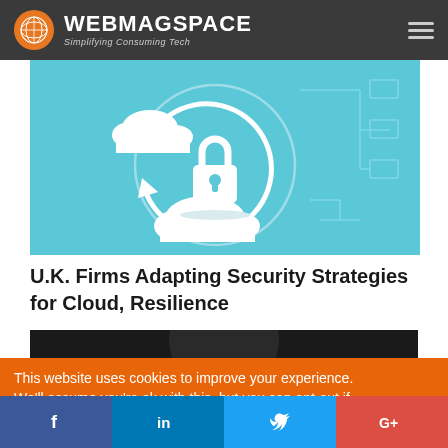WEBMAGSPACE — Simplifying Consuming Tech
[Figure (illustration): Cloud security illustration on light blue background: a padlock icon centered within a circular arrow, surrounded by cloud shapes and network/circuit diagram lines on a sky-blue background]
U.K. Firms Adapting Security Strategies for Cloud, Resilience
[Figure (photo): Partial dark photo visible below the article title, appears to be a person or portrait in low light]
This website uses cookies to improve your experience. We'll assume you're ok with this, but you can opt-out if
[Figure (infographic): Social sharing buttons row: Facebook (f), LinkedIn (in), Twitter (bird icon), Google+ (G+)]